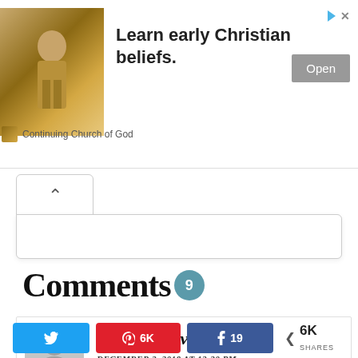[Figure (screenshot): Advertisement banner: sepia image of religious statue on left, 'Learn early Christian beliefs.' text in center, gray 'Open' button on right, 'Continuing Church of God' source label below, close/sponsored icons top right]
Comments 9
Prudence Avilia
DECEMBER 2, 2018 AT 12:30 PM
Twitter share button, Pinterest 6K, Facebook 19, Share 6K SHARES